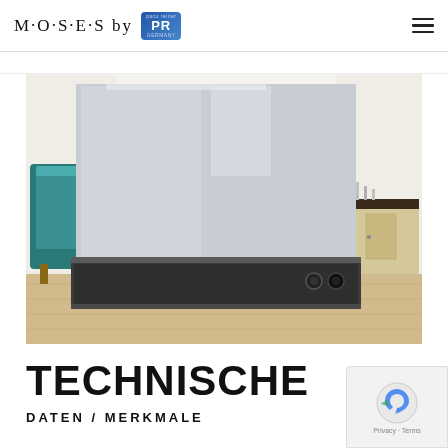M·O·S·E·S by PR
[Figure (photo): A large rectangular fire/heating device with a light gray glass panel on top and a dark metallic base with two circular controls. The product is displayed in a modern room setting with a teal chair on the left and a light wood cabinet with decorative items on the right. Wood flooring visible.]
TECHNISCHE
DATEN / MERKMALE